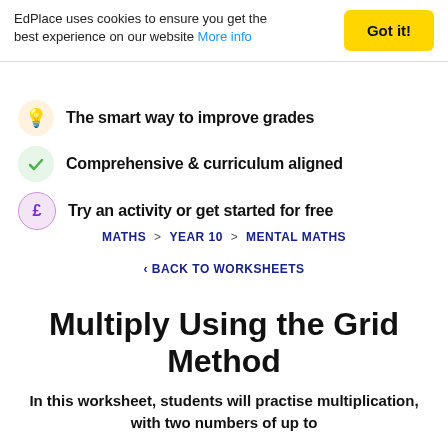EdPlace uses cookies to ensure you get the best experience on our website More info
The smart way to improve grades
Comprehensive & curriculum aligned
Try an activity or get started for free
MATHS > YEAR 10 > MENTAL MATHS
< BACK TO WORKSHEETS
Multiply Using the Grid Method
In this worksheet, students will practise multiplication, with two numbers of up to